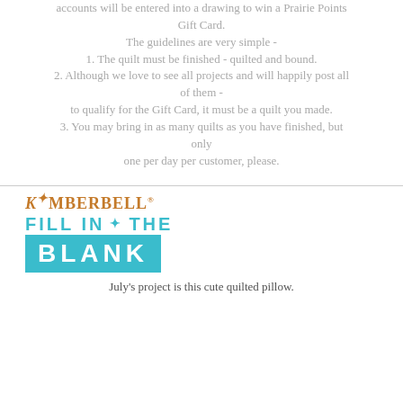accounts will be entered into a drawing to win a Prairie Points Gift Card.
The guidelines are very simple -
1. The quilt must be finished - quilted and bound.
2. Although we love to see all projects and will happily post all of them - to qualify for the Gift Card, it must be a quilt you made.
3. You may bring in as many quilts as you have finished, but only one per day per customer, please.
[Figure (logo): Kimberbell Fill in the Blank logo with teal/orange branding]
July's project is this cute quilted pillow.